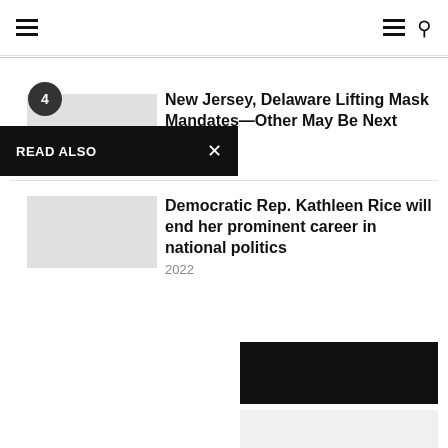Navigation bar with menu and search icons
READ ALSO
4
New Jersey, Delaware Lifting Mask Mandates—Other May Be Next
2022
Democratic Rep. Kathleen Rice will end her prominent career in national politics
2022
[Figure (photo): Black image block]
[Figure (photo): Gray image block at bottom]